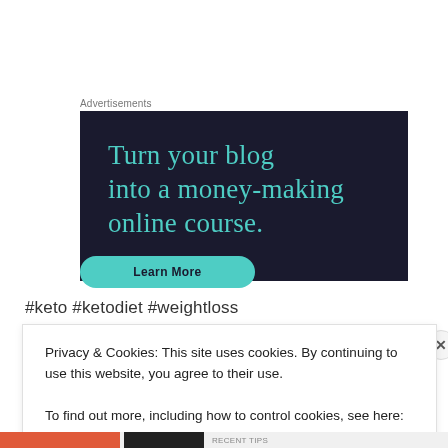Advertisements
[Figure (illustration): Advertisement banner with dark navy background showing text 'Turn your blog into a money-making online course.' in teal serif font, with a teal 'Learn More' button at the bottom.]
#keto #ketodiet #weightloss
Privacy & Cookies: This site uses cookies. By continuing to use this website, you agree to their use.
To find out more, including how to control cookies, see here: Cookie Policy
Close and accept